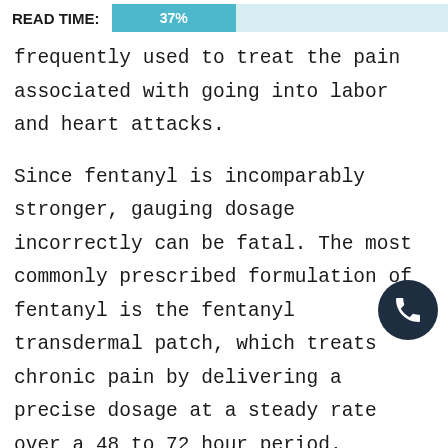READ TIME: 37%
frequently used to treat the pain associated with going into labor and heart attacks.
Since fentanyl is incomparably stronger, gauging dosage incorrectly can be fatal. The most commonly prescribed formulation of fentanyl is the fentanyl transdermal patch, which treats chronic pain by delivering a precise dosage at a steady rate over a 48 to 72 hour period. Fentanyl patch doses range from 12, 25, 50, and 100 micrograms per hour.
Doctors generally select a dosage based on a range of factors, including a person's general